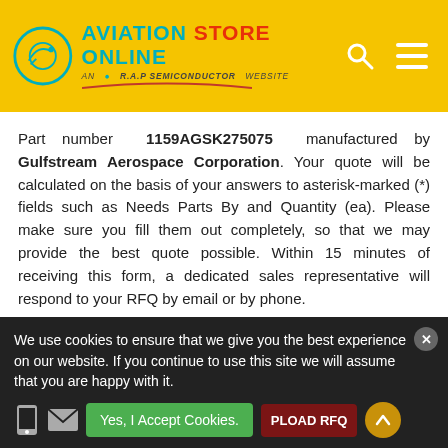[Figure (logo): Aviation Store Online logo with teal circle graphic and red/teal text, on yellow header background with search and menu icons]
Part number 1159AGSK275075 manufactured by Gulfstream Aerospace Corporation. Your quote will be calculated on the basis of your answers to asterisk-marked (*) fields such as Needs Parts By and Quantity (ea). Please make sure you fill them out completely, so that we may provide the best quote possible. Within 15 minutes of receiving this form, a dedicated sales representative will respond to your RFQ by email or by phone.
✎ Part No. 1159AGSK275075 Details
Enter Mfg Part Number *
We use cookies to ensure that we give you the best experience on our website. If you continue to use this site we will assume that you are happy with it.